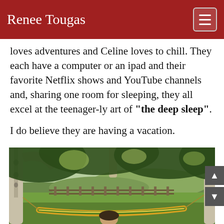Renee Tougas
loves adventures and Celine loves to chill. They each have a computer or an ipad and their favorite Netflix shows and YouTube channels and, sharing one room for sleeping, they all excel at the teenager-ly art of "the deep sleep".
I do believe they are having a vacation.
[Figure (photo): Outdoor scene under large trees with white bark (birch/aspen), a colorful hammock strung between trees, green grass lawn, wooden fence in background, partially visible hills and bright sky.]